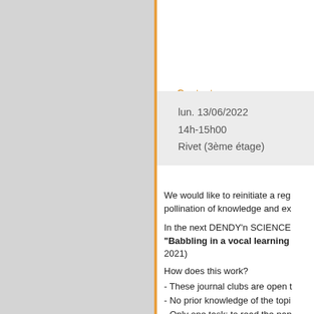Contact...
lun. 13/06/2022
14h-15h00
Rivet (3ème étage)
We would like to reinitiate a regular journal club to help cross-pollination of knowledge and experience between teams.
In the next DENDY'n SCIENCE we will discuss the paper "Babbling in a vocal learning model" (... 2021)
How does this work?
- These journal clubs are open to
- No prior knowledge of the topic
- Only one task: to read the pap
- The paper will first be briefly in
Where?
- Room E. Rivet (3rd floor) + vis